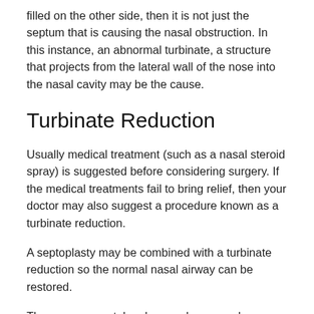filled on the other side, then it is not just the septum that is causing the nasal obstruction. In this instance, an abnormal turbinate, a structure that projects from the lateral wall of the nose into the nasal cavity may be the cause.
Turbinate Reduction
Usually medical treatment (such as a nasal steroid spray) is suggested before considering surgery. If the medical treatments fail to bring relief, then your doctor may also suggest a procedure known as a turbinate reduction.
A septoplasty may be combined with a turbinate reduction so the normal nasal airway can be restored.
The surgery can take place under general anesthesia. Using a headlight or an endoscope, the surgeon makes a cut inside the nose, lifts up the lining of the septum, and removes and straightens the deviated portions of the septal bone and cartilage.
Reasons For Having Septoplasty Surgery